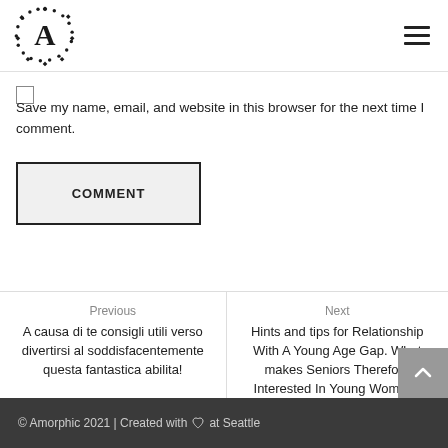Amorphic logo and navigation menu
Save my name, email, and website in this browser for the next time I comment.
COMMENT
Previous
A causa di te consigli utili verso divertirsi al soddisfacentemente questa fantastica abilita!
Next
Hints and tips for Relationship With A Young Age Gap. What makes Seniors Therefore Interested In Young Women?
© Amorphic 2021 | Created with ♡ at Seattle